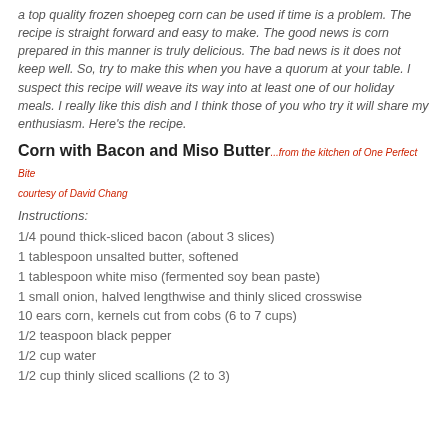a top quality frozen shoepeg corn can be used if time is a problem. The recipe is straight forward and easy to make. The good news is corn prepared in this manner is truly delicious. The bad news is it does not keep well. So, try to make this when you have a quorum at your table. I suspect this recipe will weave its way into at least one of our holiday meals. I really like this dish and I think those of you who try it will share my enthusiasm. Here's the recipe.
Corn with Bacon and Miso Butter...from the kitchen of One Perfect Bite courtesy of David Chang
Instructions:
1/4 pound thick-sliced bacon (about 3 slices)
1 tablespoon unsalted butter, softened
1 tablespoon white miso (fermented soy bean paste)
1 small onion, halved lengthwise and thinly sliced crosswise
10 ears corn, kernels cut from cobs (6 to 7 cups)
1/2 teaspoon black pepper
1/2 cup water
1/2 cup thinly sliced scallions (2 to 3)